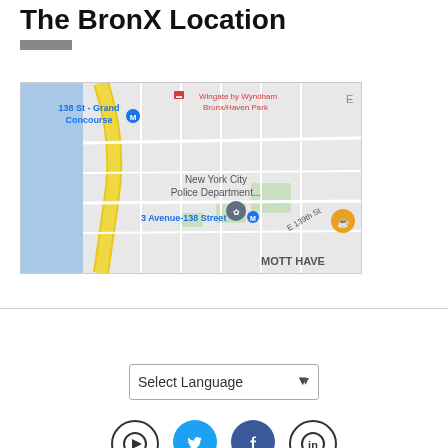The Bronx Location
[Figure (map): Google Maps screenshot showing the area around 138 St - Grand Concourse, 3 Avenue-138 Street, New York City Police Department, Wingate by Wyndham Bronx/Haven Park, E 139th St, and MOTT HAVEN neighborhood in the Bronx, NY.]
[Figure (screenshot): Select Language dropdown control and social media icons for YouTube, Twitter, Facebook, and LinkedIn]